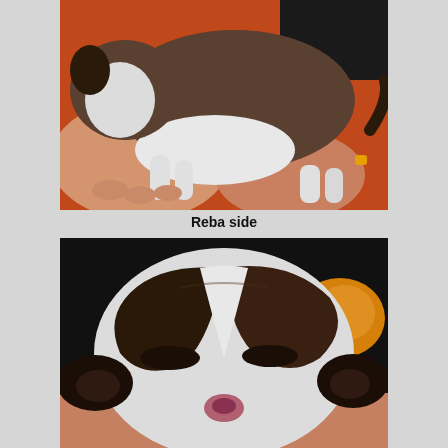[Figure (photo): A newborn puppy being held by human hands on an orange surface, viewed from the side. The puppy has brown/dark fur on top and white fur on the belly and legs.]
Reba side
[Figure (photo): Close-up face shot of a newborn puppy with black and white markings, eyes closed, viewed from above. An orange object is visible in the background.]